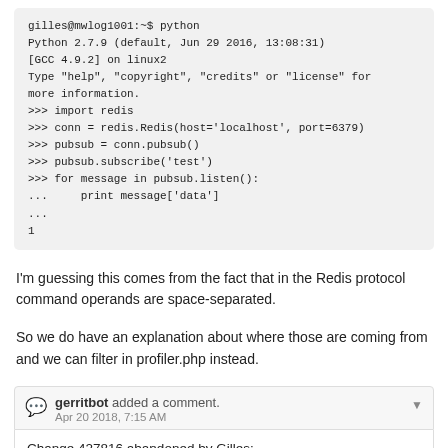gilles@mwlog1001:~$ python
Python 2.7.9 (default, Jun 29 2016, 13:08:31)
[GCC 4.9.2] on linux2
Type "help", "copyright", "credits" or "license" for
more information.
>>> import redis
>>> conn = redis.Redis(host='localhost', port=6379)
>>> pubsub = conn.pubsub()
>>> pubsub.subscribe('test')
>>> for message in pubsub.listen():
...     print message['data']
...
1
I'm guessing this comes from the fact that in the Redis protocol command operands are space-separated.
So we do have an explanation about where those are coming from and we can filter in profiler.php instead.
gerritbot added a comment.
Apr 20 2018, 7:15 AM
Change 427816 abandoned by Gilles: